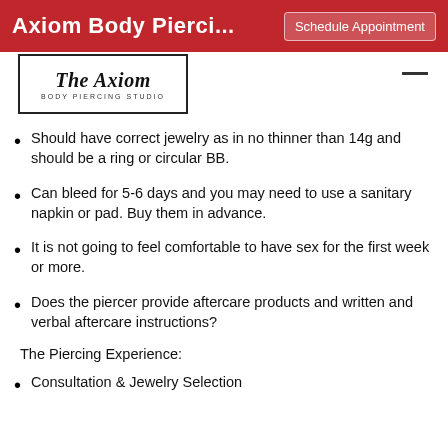Axiom Body Pierci... | Schedule Appointment
[Figure (logo): The Axiom Body Piercing Studio logo in a rectangular border with stylized script text]
Should have correct jewelry as in no thinner than 14g and should be a ring or circular BB.
Can bleed for 5-6 days and you may need to use a sanitary napkin or pad. Buy them in advance.
It is not going to feel comfortable to have sex for the first week or more.
Does the piercer provide aftercare products and written and verbal aftercare instructions?
The Piercing Experience:
Consultation & Jewelry Selection